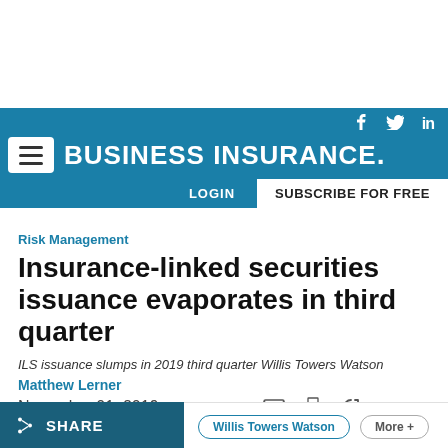BUSINESS INSURANCE
Risk Management
Insurance-linked securities issuance evaporates in third quarter
ILS issuance slumps in 2019 third quarter Willis Towers Watson
Matthew Lerner
November 01, 2019
REPRINTS
SHARE
Willis Towers Watson
More +